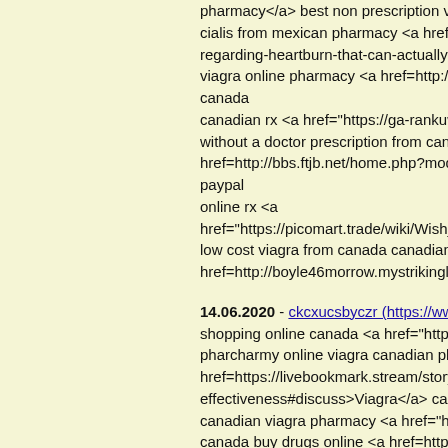pharmacy</a> best non prescription viagra cialis from mexican pharmacy <a href="https://b regarding-heartburn-that-can-actually-help-you- viagra online pharmacy <a href="http://www.xht0 canada canadian rx <a href="https://ga-rankuwa.askme without a doctor prescription from canada chea href=http://bbs.ftjb.net/home.php?mod=space& paypal online rx <a href="https://picomart.trade/wiki/Wish_to_Take_ low cost viagra from canada canadian viagra or href=http://boyle46morrow.mystrikingly.com/>w
14.06.2020 - ckcxucsbyczr (https://www.openstreet shopping online canada <a href="https://www.s pharcharmy online viagra canadian pharmacies href=https://livebookmark.stream/story.php?title effectiveness#discuss>Viagra</a> canadian ph canadian viagra pharmacy <a href="http://bped canada buy drugs online <a href="http://www.ko qa=user&qa_1=nicolajsenfalk37>Viagra</a> bu buy cialis canada <a href="http://als.anits.edu.ir viagra cialis <a href=http://jarrowlife.co.uk/user- viagra canadian online pharmacy <a href="http: option=com_k2&view=itemlist&task=user&id=1